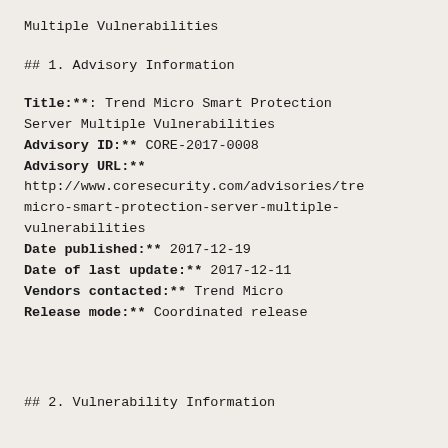Multiple Vulnerabilities
## 1. Advisory Information
**Title:**: Trend Micro Smart Protection Server Multiple Vulnerabilities
**Advisory ID:** CORE-2017-0008
**Advisory URL:** http://www.coresecurity.com/advisories/trend-micro-smart-protection-server-multiple-vulnerabilities
**Date published:** 2017-12-19
**Date of last update:** 2017-12-11
**Vendors contacted:** Trend Micro
**Release mode:** Coordinated release
## 2. Vulnerability Information